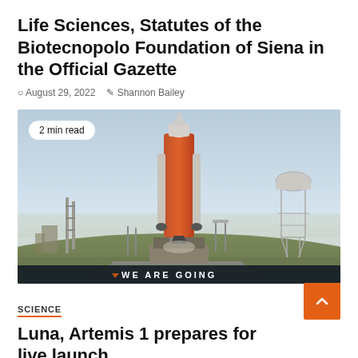Life Sciences, Statutes of the Biotecnopolo Foundation of Siena in the Official Gazette
August 29, 2022  Shannon Bailey
[Figure (photo): NASA Artemis 1 Space Launch System rocket on launch pad, seen from ground level, with water tower in background. A banner reads 'WE ARE GOING'. Badge overlay says '2 min read'.]
SCIENCE
Luna, Artemis 1 prepares for live launch
August 29, 2022  Shannon Bailey